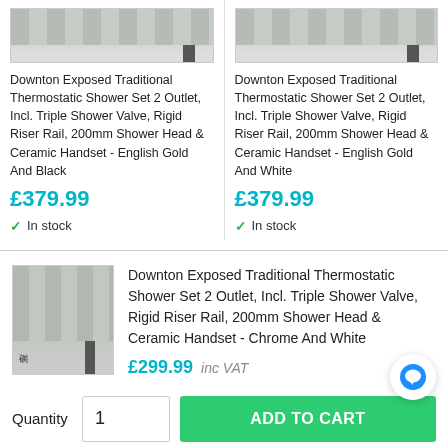[Figure (photo): Top portion of shower product image (cropped) - left card]
Downton Exposed Traditional Thermostatic Shower Set 2 Outlet, Incl. Triple Shower Valve, Rigid Riser Rail, 200mm Shower Head & Ceramic Handset - English Gold And Black
£379.99
In stock
[Figure (photo): Top portion of shower product image (cropped) - right card]
Downton Exposed Traditional Thermostatic Shower Set 2 Outlet, Incl. Triple Shower Valve, Rigid Riser Rail, 200mm Shower Head & Ceramic Handset - English Gold And White
£379.99
In stock
[Figure (photo): Thumbnail image of Downton shower set - Chrome And White]
Downton Exposed Traditional Thermostatic Shower Set 2 Outlet, Incl. Triple Shower Valve, Rigid Riser Rail, 200mm Shower Head & Ceramic Handset - Chrome And White
£299.99  inc VAT
Quantity
1
ADD TO CART